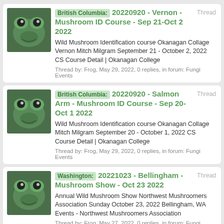British Columbia: 20220920 - Vernon - Mushroom ID Course - Sep 21-Oct 2 2022
Wild Mushroom Identification course Okanagan Collage Vernon Mitch Milgram September 21 - October 2, 2022 CS Course Detail | Okanagan College
Thread by: Frog, May 29, 2022, 0 replies, in forum: Fungi Events
British Columbia: 20220920 - Salmon Arm - Mushroom ID Course - Sep 20-Oct 1 2022
Wild Mushroom Identification course Okanagan Collage Mitch Milgram September 20 - October 1, 2022 CS Course Detail | Okanagan College
Thread by: Frog, May 29, 2022, 0 replies, in forum: Fungi Events
Washington: 20221023 - Bellingham - Mushroom Show - Oct 23 2022
Annual Wild Mushroom Show Northwest Mushroomers Association Sunday October 23, 2022 Bellingham, WA Events - Northwest Mushroomers Association
Thread by: Frog, May 27, 2022, 0 replies, in forum: Fungi Events
20220601 - Alberta (ONLINE) - Mycology Conference - Jun 1-3 2022
3rd Annual CanFunNet Fungal Biology Conference June 1-3, 2022